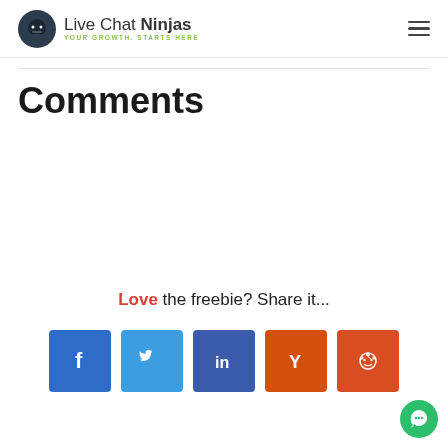Live Chat Ninjas — YOUR GROWTH. STARTS HERE.
Comments
Love the freebie? Share it...
[Figure (other): Row of five social share buttons: Facebook (blue), Twitter (light blue), LinkedIn (dark blue), Hacker News Y Combinator (orange), Reddit (red-orange)]
[Figure (other): Live Chat Ninjas chat widget button — green circle with chat icon at bottom right]